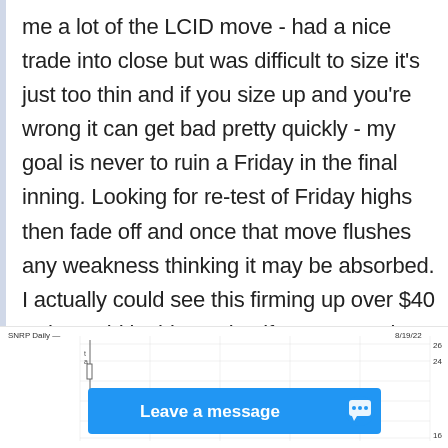me a lot of the LCID move - had a nice trade into close but was difficult to size it's just too thin and if you size up and you're wrong it can get bad pretty quickly - my goal is never to ruin a Friday in the final inning. Looking for re-test of Friday highs then fade off and once that move flushes any weakness thinking it may be absorbed. I actually could see this firming up over $40 -- that said in this market if we are weak and things appear like they're going to fail clearly I'd switch my bias.
[Figure (screenshot): Partial stock chart for SNRP Daily, dated 8/19/22, showing candlestick data with price levels around 16-26. A 'Leave a message' chat button overlays the bottom portion of the chart.]